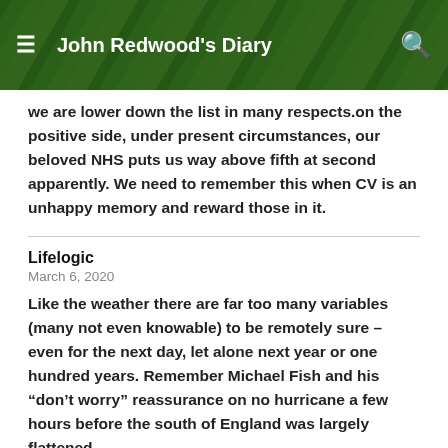John Redwood's Diary
we are lower down the list in many respects.on the positive side, under present circumstances, our beloved NHS puts us way above fifth at second apparently. We need to remember this when CV is an unhappy memory and reward those in it.
Lifelogic
March 6, 2020
Like the weather there are far too many variables (many not even knowable) to be remotely sure – even for the next day, let alone next year or one hundred years. Remember Michael Fish and his “don’t worry” reassurance on no hurricane a few hours before the south of England was largely flattened.